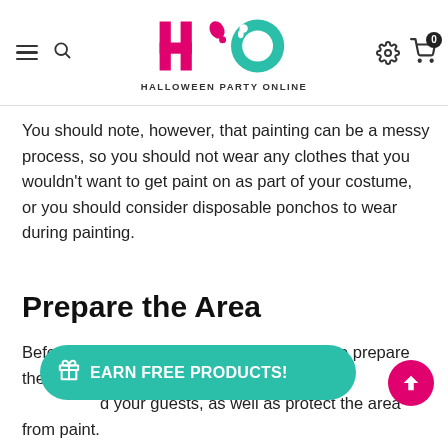[Figure (logo): Halloween Party Online logo with stylized HPO letters in magenta and teal, with navigation icons]
You should note, however, that painting can be a messy process, so you should not wear any clothes that you wouldn't want to get paint on as part of your costume, or you should consider disposable ponchos to wear during painting.
Prepare the Area
Before your Bob Ross Party, you will need to prepare the [area] party in order to make it [comfortable] and your guests, as well as protect the area from paint.